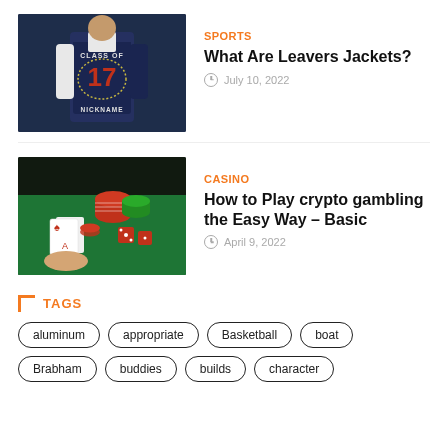[Figure (photo): Person wearing a blue varsity jacket with 'CLASS OF 17' and 'NICKNAME' on the back]
SPORTS
What Are Leavers Jackets?
July 10, 2022
[Figure (photo): Casino table with cards, poker chips (red and green), and dice on a green felt surface]
CASINO
How to Play crypto gambling the Easy Way – Basic
April 9, 2022
TAGS
aluminum
appropriate
Basketball
boat
Brabham
buddies
builds
character